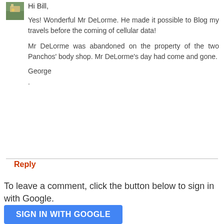[Figure (photo): Small avatar thumbnail showing a person outdoors near a vehicle]
Hi Bill,
Yes! Wonderful Mr DeLorme. He made it possible to Blog my travels before the coming of cellular data!
Mr DeLorme was abandoned on the property of the two Panchos' body shop. Mr DeLorme's day had come and gone.
George
.
Reply
To leave a comment, click the button below to sign in with Google.
SIGN IN WITH GOOGLE